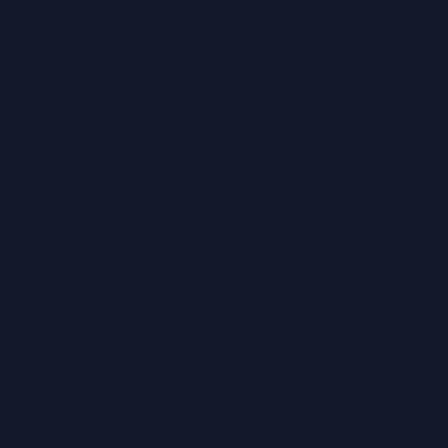[Figure (other): Dark navy blue background page with no visible text or other content elements. The page appears to be a solid dark navy/dark blue color (#13192b) with very subtle texture variations.]